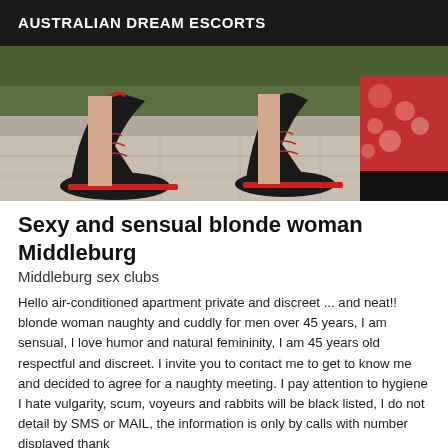AUSTRALIAN DREAM ESCORTS
[Figure (photo): Close-up photo of two women's feet wearing black and red high heel shoes, with a floral red dress visible on the right side, standing on a tiled floor outdoors]
Sexy and sensual blonde woman Middleburg
Middleburg sex clubs
Hello air-conditioned apartment private and discreet ... and neat!! blonde woman naughty and cuddly for men over 45 years, I am sensual, I love humor and natural femininity, I am 45 years old respectful and discreet. I invite you to contact me to get to know me and decided to agree for a naughty meeting. I pay attention to hygiene I hate vulgarity, scum, voyeurs and rabbits will be black listed, I do not detail by SMS or MAIL, the information is only by calls with number displayed thank